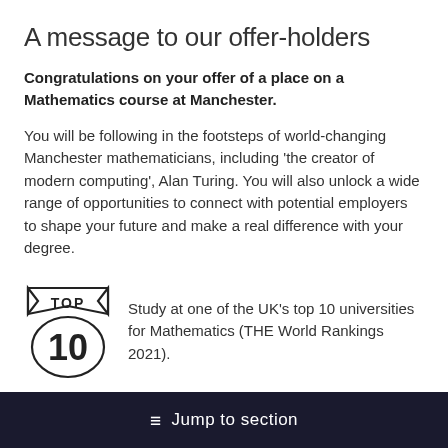A message to our offer-holders
Congratulations on your offer of a place on a Mathematics course at Manchester.
You will be following in the footsteps of world-changing Manchester mathematicians, including ‘the creator of modern computing’, Alan Turing. You will also unlock a wide range of opportunities to connect with potential employers to shape your future and make a real difference with your degree.
[Figure (illustration): Top 10 badge / ribbon graphic with 'TOP' text and '10' large numeral]
Study at one of the UK’s top 10 universities for Mathematics (THE World Rankings 2021).
≡  Jump to section